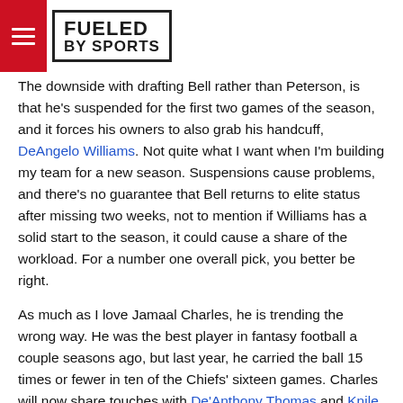FUELED BY SPORTS
The downside with drafting Bell rather than Peterson, is that he’s suspended for the first two games of the season, and it forces his owners to also grab his handcuff, DeAngelo Williams. Not quite what I want when I’m building my team for a new season. Suspensions cause problems, and there’s no guarantee that Bell returns to elite status after missing two weeks, not to mention if Williams has a solid start to the season, it could cause a share of the workload. For a number one overall pick, you better be right.
As much as I love Jamaal Charles, he is trending the wrong way. He was the best player in fantasy football a couple seasons ago, but last year, he carried the ball 15 times or fewer in ten of the Chiefs’ sixteen games. Charles will now share touches with De’Anthony Thomas and Knile Davis. That certainly is not number one overall status for a running back. And for those of you asking about Eddie